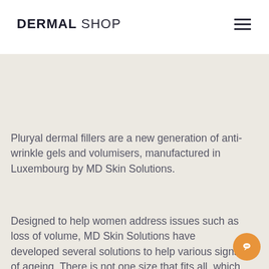DERMAL SHOP
Pluryal dermal fillers are a new generation of anti-wrinkle gels and volumisers, manufactured in Luxembourg by MD Skin Solutions.
Designed to help women address issues such as loss of volume, MD Skin Solutions have developed several solutions to help various signs of ageing. There is not one size that fits all, which is why the Pluryal range is specific to treat each individual